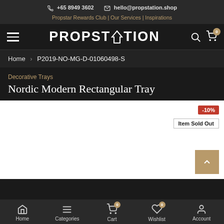+65 8949 3602  hello@propstation.shop  Propstar Rewards Club | Our Services | Inspirations
[Figure (logo): PROPSTATION logo with house icon, navigation hamburger menu, search icon, and cart icon with 0 badge]
Home > P2019-NO-MG-D-01060498-S
Decorative Trays
Nordic Modern Rectangular Tray
[Figure (photo): White product image area with -10% discount badge in red, Item Sold Out badge in white, and gold scroll-to-top button with upward arrow]
Home  Categories  Cart  Wishlist  Account